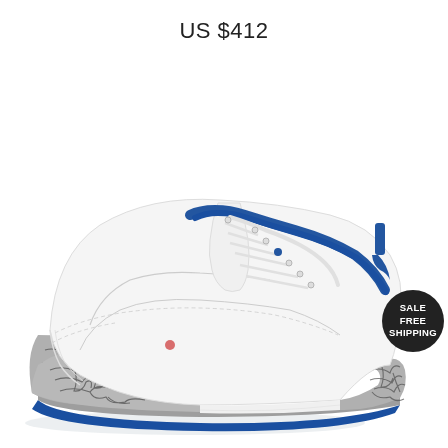US $412
[Figure (photo): Air Jordan 3 sneaker in white leather with blue collar lining, elephant print grey/black pattern on toe and heel, blue midsole, viewed from the side at a slight angle.]
SALE FREE SHIPPING